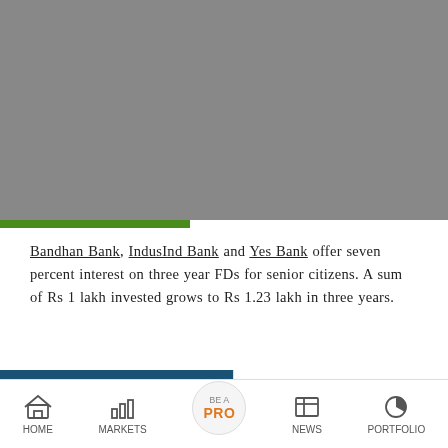[Figure (photo): Gray placeholder image at top of article]
Bandhan Bank, IndusInd Bank and Yes Bank offer seven percent interest on three year FDs for senior citizens. A sum of Rs 1 lakh invested grows to Rs 1.23 lakh in three years.
[Figure (photo): Gray placeholder image in lower portion of article]
[Figure (screenshot): Related article card: As private sector bank rates on three year FDs for senior citizens...]
[Figure (screenshot): Related article card: Disney considers a membership plan to...]
HOME  MARKETS  BE A PRO  NEWS  PORTFOLIO